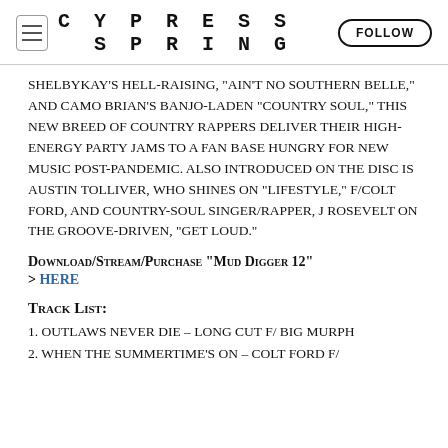CYPRESS SPRING
Shelbykay's hell-raising, "Ain't No Southern Belle," and Camo Brian's banjo-laden "Country Soul," this new breed of country rappers deliver their high-energy party jams to a fan base hungry for new music post-Pandemic. Also introduced on the disc is Austin Tolliver, who shines on "Lifestyle," f/Colt Ford, and country-soul singer/rapper, J Rosevelt on the groove-driven, "Get Loud."
Download/Stream/Purchase "Mud Digger 12" > HERE
Track List:
1. Outlaws Never Die – Long Cut f/ Big Murph
2. When The Summertime's On – Colt Ford f/